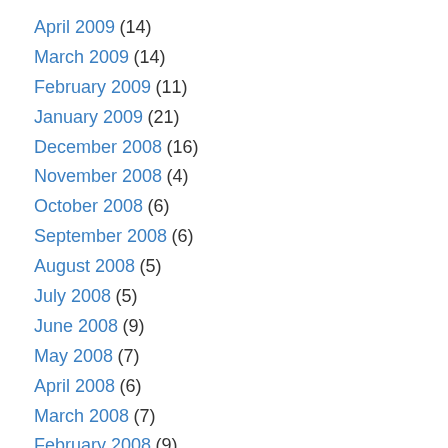April 2009 (14)
March 2009 (14)
February 2009 (11)
January 2009 (21)
December 2008 (16)
November 2008 (4)
October 2008 (6)
September 2008 (6)
August 2008 (5)
July 2008 (5)
June 2008 (9)
May 2008 (7)
April 2008 (6)
March 2008 (7)
February 2008 (9)